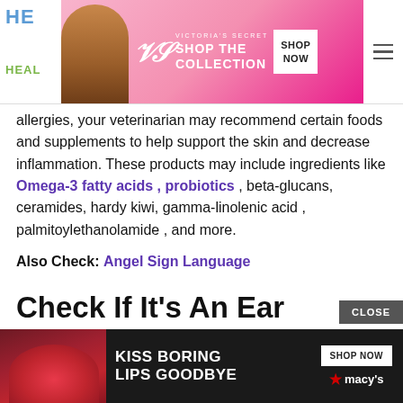[Figure (screenshot): Top navigation bar with partial website logo (HE / HEAL in blue/green) and Victoria's Secret advertisement banner with model photo, VS logo, 'SHOP THE COLLECTION' text, 'SHOP NOW' button, and hamburger menu icon]
allergies, your veterinarian may recommend certain foods and supplements to help support the skin and decrease inflammation. These products may include ingredients like Omega-3 fatty acids , probiotics , beta-glucans, ceramides, hardy kiwi, gamma-linolenic acid , palmitoylethanolamide , and more.
Also Check: Angel Sign Language
Check If It's An Ear Infection
The symptoms of an ear infection usually start quickly and include:
[Figure (screenshot): Bottom advertisement overlay for Macy's with dark background, woman's lips photo, 'KISS BORING LIPS GOODBYE' text, 'SHOP NOW' button, Macy's logo with star, and 'CLOSE' button above]